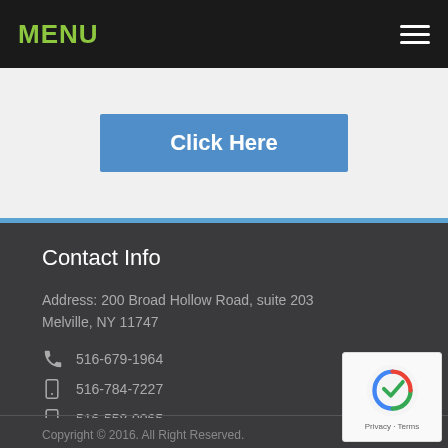MENU
[Figure (screenshot): Blue 'Click Here' button on light grey background]
Contact Info
Address: 200 Broad Hollow Road, suite 203 Melville, NY 11747
516-679-1964
516-784-7227
516-558-0065
omaida@www.globaltax.info
Copyright © 2016. All Right Reserved. Powered by WEB DESIGN YOU